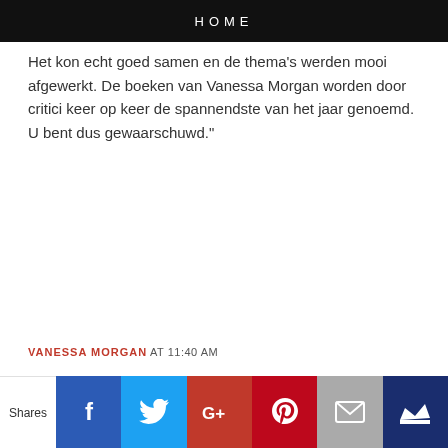HOME
Het kon echt goed samen en de thema's werden mooi afgewerkt. De boeken van Vanessa Morgan worden door critici keer op keer de spannendste van het jaar genoemd. U bent dus gewaarschuwd."
VANESSA MORGAN AT 11:40 AM
Shares | f | t | G+ | p | mail | crown